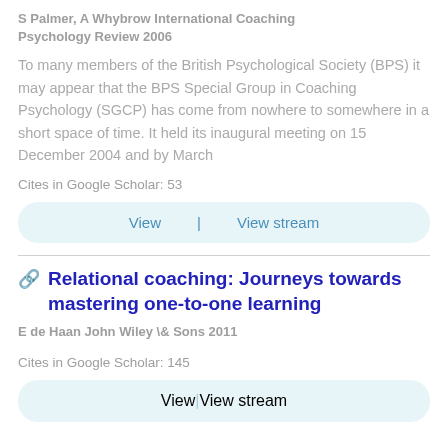S Palmer, A Whybrow International Coaching Psychology Review 2006
To many members of the British Psychological Society (BPS) it may appear that the BPS Special Group in Coaching Psychology (SGCP) has come from nowhere to somewhere in a short space of time. It held its inaugural meeting on 15 December 2004 and by March
Cites in Google Scholar: 53
View | View stream
Relational coaching: Journeys towards mastering one-to-one learning
E de Haan John Wiley \& Sons 2011
Cites in Google Scholar: 145
View | View stream